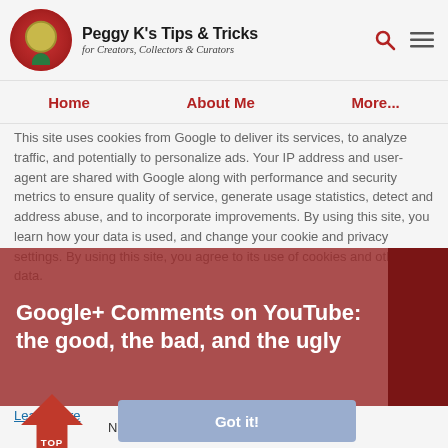Peggy K's Tips & Tricks for Creators, Collectors & Curators
Home   About Me   More...
This site uses cookies from Google to deliver its services, to analyze traffic, and potentially to personalize ads. Your IP address and user-agent are shared with Google along with performance and security metrics to ensure quality of service, generate usage statistics, detect and address abuse, and to incorporate improvements. By using this site, you learn how your data is used, and change your cookie and privacy settings. By using this site, you agree to its use of cookies and other data.
Google+ Comments on YouTube: the good, the bad, and the ugly
Learn more
November 06, 2013
Got it!